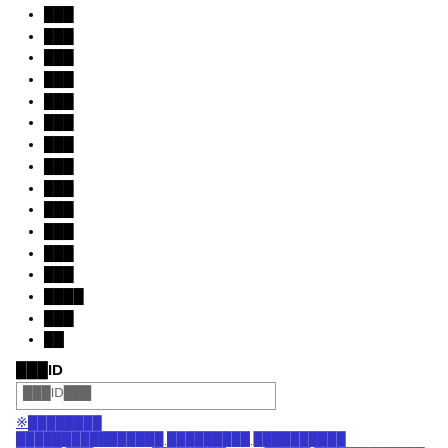███
███
███
███
███
███
███
███
███
███
███
███
███
████
███
██
███ID
███ID███
※████████
████████████████ █████████ ██████████
█████ ███ LUCENT ████████ W BL █████ ████████████ xlp9017
████████████████ ████ ███ ████████████████████████████████████████████ ██ ███ █████13█
████████████████████! ████████████████ 4██ 52064
4881█████████48